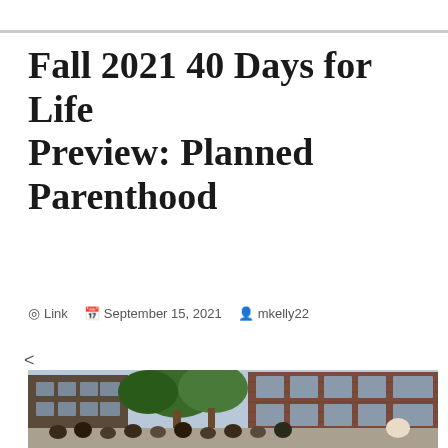Fall 2021 40 Days for Life Preview: Planned Parenthood
Link  September 15, 2021  mkelly22
[Figure (photo): Outdoor street scene showing brick buildings, trees, and a crowd of people on a sidewalk, likely a protest or vigil outside a Planned Parenthood location.]